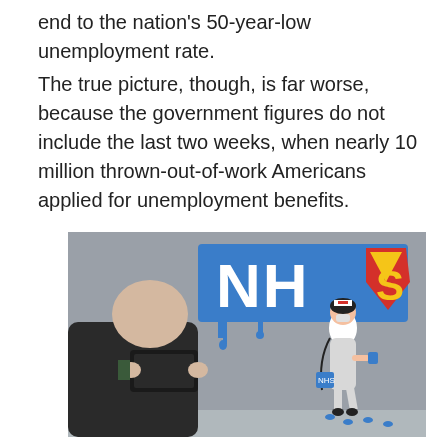end to the nation's 50-year-low unemployment rate.
The true picture, though, is far worse, because the government figures do not include the last two weeks, when nearly 10 million thrown-out-of-work Americans applied for unemployment benefits.
[Figure (photo): A person photographing an NHS Superman graffiti mural on a wall. The mural shows 'NHS' in large white letters on a blue background with a Superman 'S' logo, and a cartoon nurse in a cape and mask carrying a bag.]